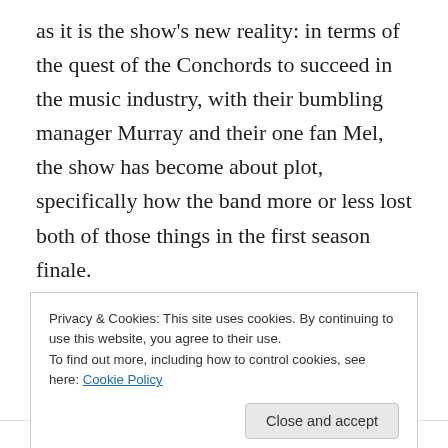as it is the show's new reality: in terms of the quest of the Conchords to succeed in the music industry, with their bumbling manager Murray and their one fan Mel, the show has become about plot, specifically how the band more or less lost both of those things in the first season finale.

"A Good Opportunity" is not destined to be a classic, and doesn't answer every question about how the show will manage a second season creatively, but the machinations of the episode are done in good form and, ultimately, add up to a welcome return for the winners of the Grammy
Privacy & Cookies: This site uses cookies. By continuing to use this website, you agree to their use.
To find out more, including how to control cookies, see here: Cookie Policy
Close and accept
December 17, 2008   💬 3 Replies